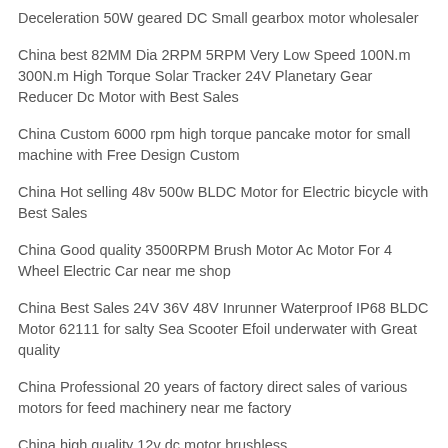Deceleration 50W geared DC Small gearbox motor wholesaler
China best 82MM Dia 2RPM 5RPM Very Low Speed 100N.m 300N.m High Torque Solar Tracker 24V Planetary Gear Reducer Dc Motor with Best Sales
China Custom 6000 rpm high torque pancake motor for small machine with Free Design Custom
China Hot selling 48v 500w BLDC Motor for Electric bicycle with Best Sales
China Good quality 3500RPM Brush Motor Ac Motor For 4 Wheel Electric Car near me shop
China Best Sales 24V 36V 48V Inrunner Waterproof IP68 BLDC Motor 62111 for salty Sea Scooter Efoil underwater with Great quality
China Professional 20 years of factory direct sales of various motors for feed machinery near me factory
China high quality 12v dc motor brushless